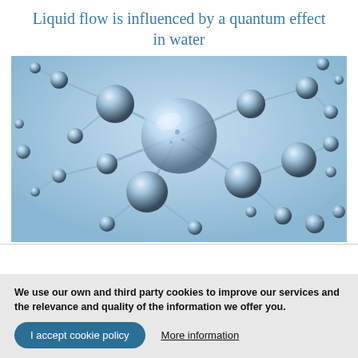Liquid flow is influenced by a quantum effect in water
[Figure (illustration): 3D molecular structure illustration showing water molecules as silver/chrome spheres connected by rods, floating against a light blue background, representing liquid water molecular network]
We use our own and third party cookies to improve our services and the relevance and quality of the information we offer you.
I accept cookie policy
More information